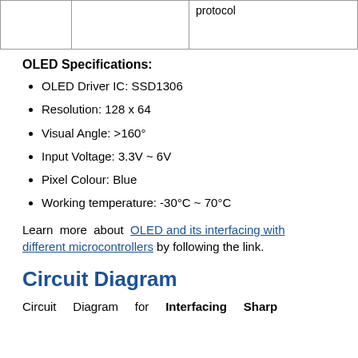|  |  | protocol |
OLED Specifications:
OLED Driver IC: SSD1306
Resolution: 128 x 64
Visual Angle: >160°
Input Voltage: 3.3V ~ 6V
Pixel Colour: Blue
Working temperature: -30°C ~ 70°C
Learn more about OLED and its interfacing with different microcontrollers by following the link.
Circuit Diagram
Circuit Diagram for Interfacing Sharp